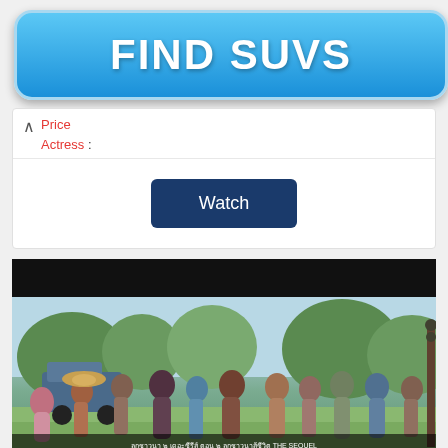[Figure (other): FIND SUVS blue advertisement banner button]
Price
Actress :
[Figure (other): Watch button - dark blue rounded rectangle button]
[Figure (photo): Movie promotional poster showing a large group of people in a rural outdoor setting with trees, a vehicle, and people in casual/traditional clothing. Bottom text bar with Thai/Asian language text.]